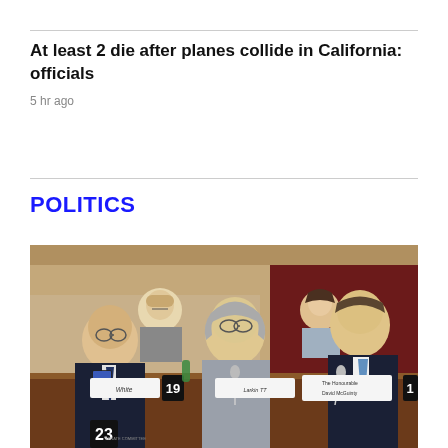At least 2 die after planes collide in California: officials
5 hr ago
POLITICS
[Figure (photo): Several people seated at a formal committee or parliamentary hearing table. A bald man in a dark suit is on the left looking at a phone, a gray-haired woman in gray speaks to him in the center, a woman with glasses is visible in the background, and a man in a dark suit with a blue tie sits on the right. Name placards are visible including 'The Honourable David McGuinty' and numbers 19 and 23.]